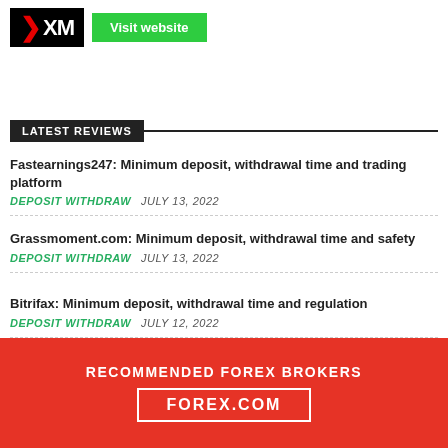[Figure (logo): XM broker logo (black background, white XM text with red slash) and green Visit website button]
LATEST REVIEWS
Fastearnings247: Minimum deposit, withdrawal time and trading platform
DEPOSIT WITHDRAW   JULY 13, 2022
Grassmoment.com: Minimum deposit, withdrawal time and safety
DEPOSIT WITHDRAW   JULY 13, 2022
Bitrifax: Minimum deposit, withdrawal time and regulation
DEPOSIT WITHDRAW   JULY 12, 2022
TdTrade.ca: Minimum deposit, withdrawal time and regulation
RECOMMENDED FOREX BROKERS
FOREX.COM